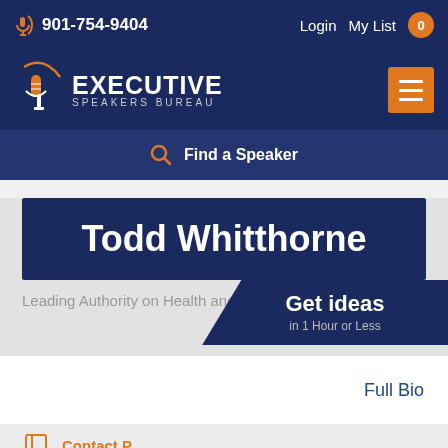901-754-9404  Login  My List 0
[Figure (logo): Executive Speakers Bureau logo with microphone icon and orange arc]
Find a Speaker
Todd Whitthorne
Leading Authority on Health and We...
Get ideas in 1 Hour or Less
Full Bio